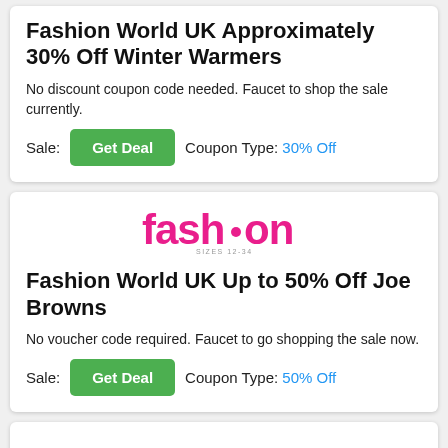Fashion World UK Approximately 30% Off Winter Warmers
No discount coupon code needed. Faucet to shop the sale currently.
Sale:  Get Deal  Coupon Type: 30% Off
[Figure (logo): Fashion World UK logo with pink text reading 'fashion' and subtitle 'sizes 12-34']
Fashion World UK Up to 50% Off Joe Browns
No voucher code required. Faucet to go shopping the sale now.
Sale:  Get Deal  Coupon Type: 50% Off